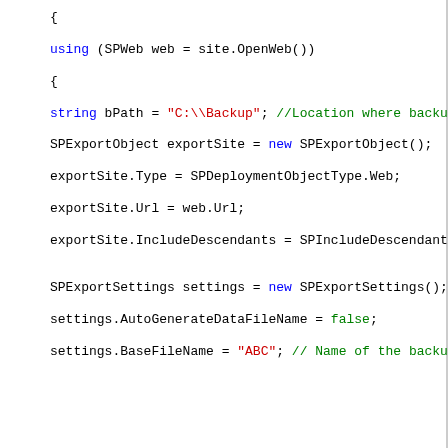{ using (SPWeb web = site.OpenWeb()) { string bPath = "C:\\Backup"; //Location where backup file is to be stored SPExportObject exportSite = new SPExportObject(); exportSite.Type = SPDeploymentObjectType.Web; exportSite.Url = web.Url; exportSite.IncludeDescendants = SPIncludeDescendants.All; SPExportSettings settings = new SPExportSettings(); settings.AutoGenerateDataFileName = false; settings.BaseFileName = "ABC"; // Name of the backup file.